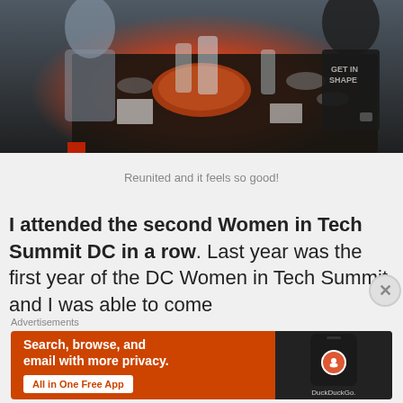[Figure (photo): People sitting around a restaurant table with food, drinks, and dishes. A large red dish is visible in the center of the dark table.]
Reunited and it feels so good!
I attended the second Women in Tech Summit DC in a row. Last year was the first year of the DC Women in Tech Summit and I was able to come
[Figure (illustration): DuckDuckGo advertisement banner on orange background. Text: 'Search, browse, and email with more privacy. All in One Free App' with DuckDuckGo logo on a phone graphic.]